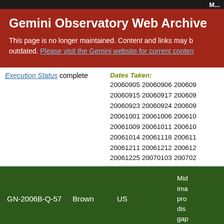M...
Gemini Observatory Web Archive
This page is no longer maintained. Content and links may be outdated. Please visit the Gemini website for current content
Execution Status complete
Dates Taken: 20060905 20060906 20060909 20060915 20060917 20060919 20060923 20060924 20060925 20061001 20061006 20061007 20061009 20061011 20061012 20061014 20061118 20061119 20061211 20061212 20061213 20061225 20070103 20070201
| ID | Name | Country | Description |
| --- | --- | --- | --- |
| GN-2006B-Q-57 | Brown | US | Mid... ima... pro dis ga |
Execution Status active
Dates Taken: